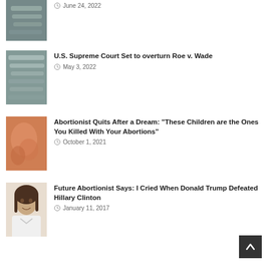[Figure (photo): Partial view of surgical scissors/medical instruments on a tray, top of page cropped]
June 24, 2022
[Figure (photo): Surgical scissors and medical instruments arranged on a surface]
U.S. Supreme Court Set to overturn Roe v. Wade
May 3, 2022
[Figure (photo): Close-up image of an unborn baby/fetus, warm orange tones]
Abortionist Quits After a Dream: "These Children are the Ones You Killed With Your Abortions"
October 1, 2021
[Figure (photo): Portrait photo of a young woman with long dark hair, smiling, wearing a white coat]
Future Abortionist Says: I Cried When Donald Trump Defeated Hillary Clinton
January 11, 2017